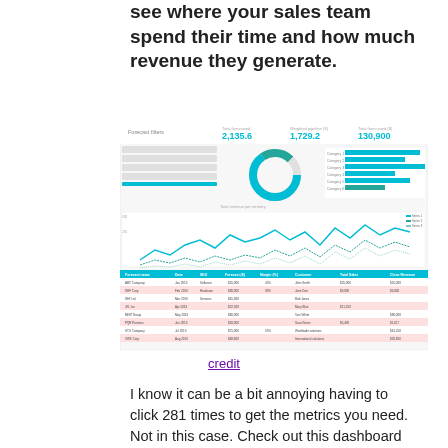see where your sales team spend their time and how much revenue they generate.
[Figure (screenshot): Dashboard screenshot showing KPI metrics (2,135.6 and 1,729.2 and 130,900), a donut chart, a horizontal bar chart, a line chart over time, and a data table with sales metrics.]
credit
I know it can be a bit annoying having to click 281 times to get the metrics you need. Not in this case. Check out this dashboard which features the key metrics smack bang in the middle. It makes it easy to read and you'll see the most valuable data as